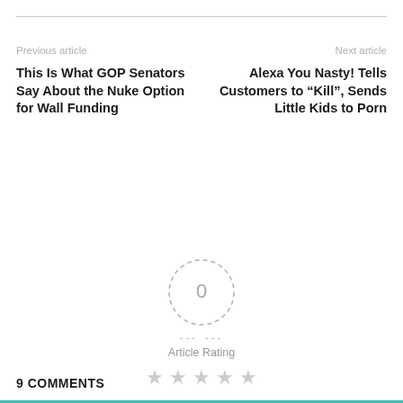Previous article
Next article
This Is What GOP Senators Say About the Nuke Option for Wall Funding
Alexa You Nasty! Tells Customers to “Kill”, Sends Little Kids to Porn
[Figure (other): Dashed circle with 0 rating and horizontal dashes on either side]
Article Rating
[Figure (other): Five empty/light gray stars for rating]
9 COMMENTS